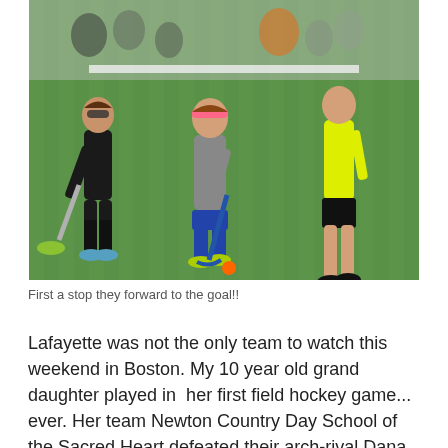[Figure (photo): Field hockey game action shot showing players on a grass field competing for the ball. A player in gray shirt with pink headband dribbles, challenged by a player in black on the left and a referee in yellow on the right. Orange ball visible on the green grass.]
First a stop they forward to the goal!!
Lafayette was not the only team to watch this weekend in Boston. My 10 year old grand daughter played in  her first field hockey game... ever. Her team Newton Country Day School of the Sacred Heart defeated their arch-rival Dana Hall 2-0. The ten year olds acquitted themselves well and Ellie my